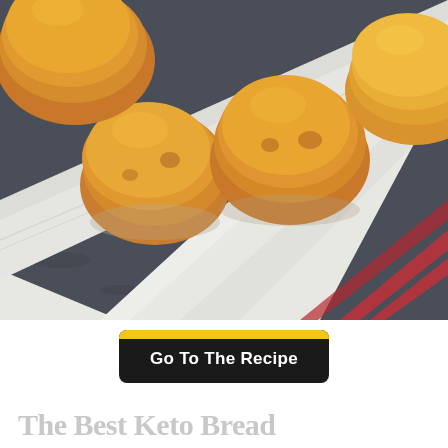[Figure (photo): Golden biscuit rolls arranged on a white kitchen towel with red stripes, photographed on a dark stone surface from above at an angle.]
Go To The Recipe
The Best Keto Bread